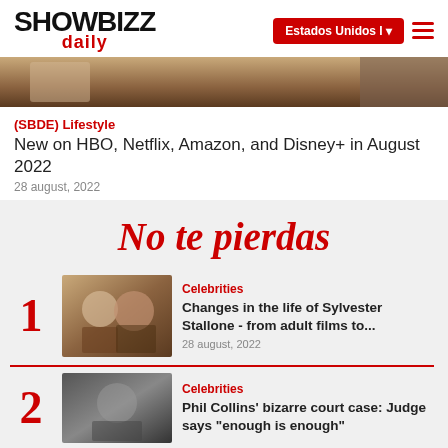SHOWBIZZ daily | Estados Unidos
[Figure (photo): Partial hero image, warm tones]
(SBDE) Lifestyle
New on HBO, Netflix, Amazon, and Disney+ in August 2022
28 august, 2022
No te pierdas
Celebrities
Changes in the life of Sylvester Stallone - from adult films to...
28 august, 2022
Celebrities
Phil Collins' bizarre court case: Judge says "enough is enough"